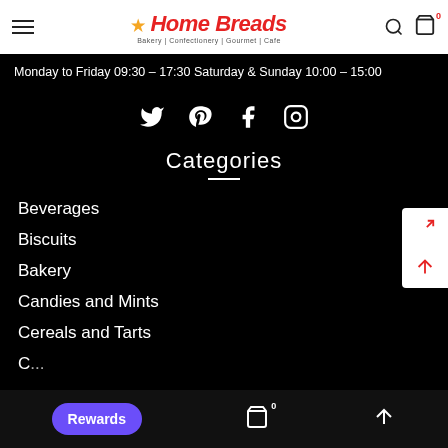Home Breads — Bakery | Confectionery | Gourmet | Cafe
Monday to Friday 09:30 – 17:30 Saturday & Sunday 10:00 – 15:00
[Figure (infographic): Social media icons: Twitter, Pinterest, Facebook, Instagram]
Categories
Beverages
Biscuits
Bakery
Candies and Mints
Cereals and Tarts
Rewards | 0 (cart) | up arrow